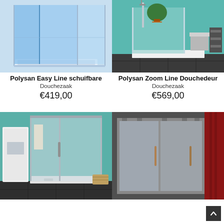[Figure (photo): Polysan Easy Line sliding shower door/enclosure, blue-tinted glass panels in a light blue bathroom setting]
Polysan Easy Line schuifbare
Douchezaak
€419,00
[Figure (photo): Polysan Zoom Line shower door in a teal-walled bathroom with plant and accessories]
Polysan Zoom Line Douchedeur
Douchezaak
€569,00
[Figure (photo): Shower enclosure with double door in a teal bathroom with white cabinet and hanging robe]
[Figure (photo): Sliding shower door with frosted glass panel against dark grey wall, red curtain visible]